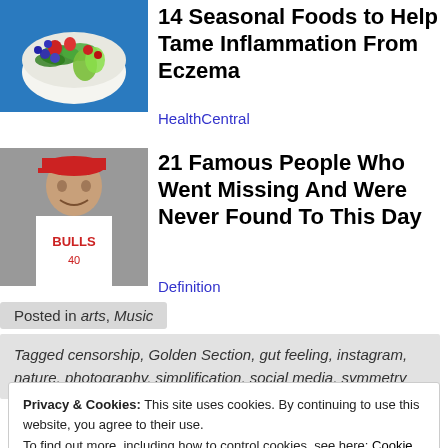[Figure (photo): Colorful fruit and vegetable salad bowl with strawberries, blueberries, avocado slices, and greens on a blue background]
14 Seasonal Foods to Help Tame Inflammation From Eczema
HealthCentral
[Figure (photo): Man wearing a Chicago Bulls basketball jersey and a cap, smiling]
21 Famous People Who Went Missing And Were Never Found To This Day
Definition
Posted in arts, Music
Tagged censorship, Golden Section, gut feeling, instagram, nature, photography, simplification, social media, symmetry
Privacy & Cookies: This site uses cookies. By continuing to use this website, you agree to their use.
To find out more, including how to control cookies, see here: Cookie Policy